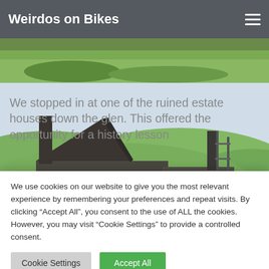Weirdos on Bikes
[Figure (photo): Partial view of a landscape/field photo cropped at top of page, green hills]
We stopped in at one of the ruined estate houses down the glen. This offered the opportunity for a history lesson
We use cookies on our website to give you the most relevant experience by remembering your preferences and repeat visits. By clicking “Accept All”, you consent to the use of ALL the cookies. However, you may visit “Cookie Settings” to provide a controlled consent.
[Figure (photo): A ruined stone/brick building with collapsed roof and walls, set against rolling green hills under a pale sky]